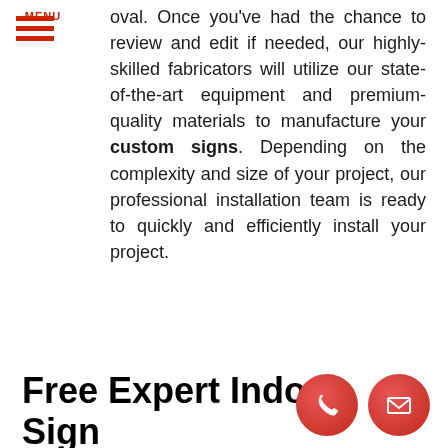[Figure (other): Hamburger menu icon with three red horizontal bars and red MENU text label]
oval. Once you've had the chance to review and edit if needed, our highly-skilled fabricators will utilize our state-of-the-art equipment and premium-quality materials to manufacture your custom signs. Depending on the complexity and size of your project, our professional installation team is ready to quickly and efficiently install your project.
Free Expert Indoor Sign Consultation
[Figure (other): Two red circular icon buttons at bottom right: a phone/call icon and an email/envelope icon]